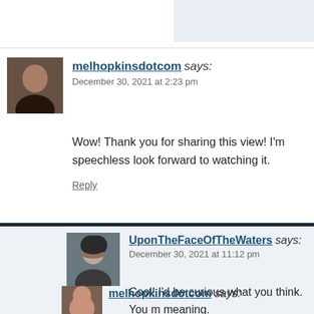[Figure (photo): Profile photo of melhopkinsdotcom - a woman with long dark hair]
melhopkinsdotcom says:
December 30, 2021 at 2:23 pm

Wow! Thank you for sharing this view! I'm speechless look forward to watching it.

Reply
[Figure (photo): Profile photo of UponTheFaceOfTheWaters - a bearded man in a dark hat]
UponTheFaceOfTheWaters says:
December 30, 2021 at 11:12 pm

Cool! I'd be curious what you think. You m meaning.

Reply
[Figure (photo): Profile photo of melhopkinsdotcom - partially visible at bottom]
melhopkinsdotcom says: